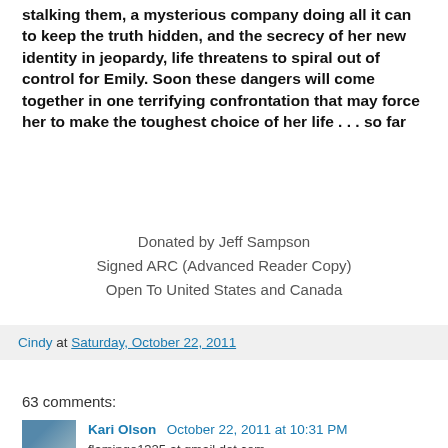stalking them, a mysterious company doing all it can to keep the truth hidden, and the secrecy of her new identity in jeopardy, life threatens to spiral out of control for Emily. Soon these dangers will come together in one terrifying confrontation that may force her to make the toughest choice of her life . . . so far
Donated by Jeff Sampson
Signed ARC (Advanced Reader Copy)
Open To United States and Canada
Cindy at Saturday, October 22, 2011
63 comments:
Kari Olson October 22, 2011 at 10:31 PM
flamingo1325 at gmail dot com
Reply